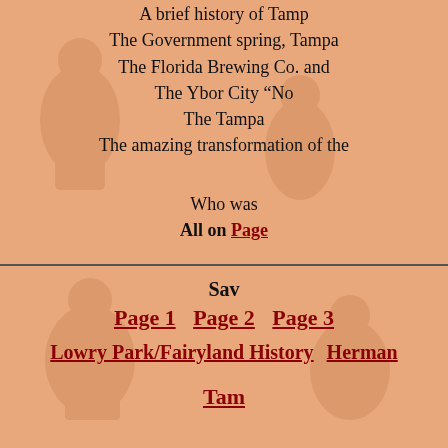A brief history of Tampa
The Government spring, Tampa
The Florida Brewing Co. and
The Ybor City "No
The Tampa
The amazing transformation of the
Who was
All on Page
Sav
Page 1   Page 2   Page 3
Lowry Park/Fairyland History   Herman
Tam